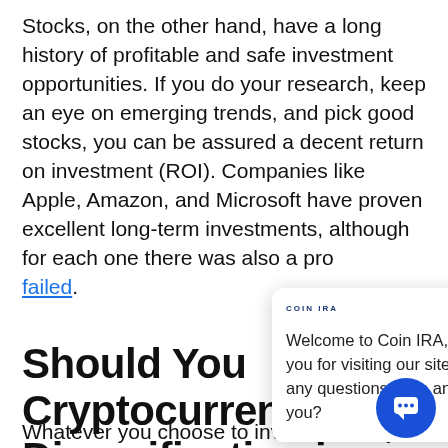Stocks, on the other hand, have a long history of profitable and safe investment opportunities. If you do your research, keep an eye on emerging trends, and pick good stocks, you can be assured a decent return on investment (ROI). Companies like Apple, Amazon, and Microsoft have proven excellent long-term investments, although for each one there was also a pro… failed.
Should You Cryptocurrency: Diversification is Key
Whatever you choose to invest in, always
[Figure (screenshot): Coin IRA chat popup widget with message: 'Welcome to Coin IRA, and thank you for visiting our site. Are there any questions I can answer for you?' and a close button (×). Also a circular blue chat bubble button in the bottom right.]